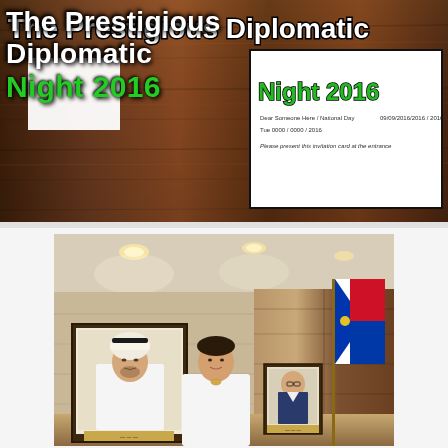[Figure (photo): Top photo showing a dark wood-paneled background with a white invitation card overlay. The card shows green bold text 'The Prestigious Diplomatic Night 2016' with small printed details below.]
The Prestigious Diplomatic Night 2016
[Figure (photo): Bottom photo of a woman in white dress standing in an elegant room between two framed portraits. A Philippine flag is visible on the right side. The room has warm lighting and wood-paneled walls.]